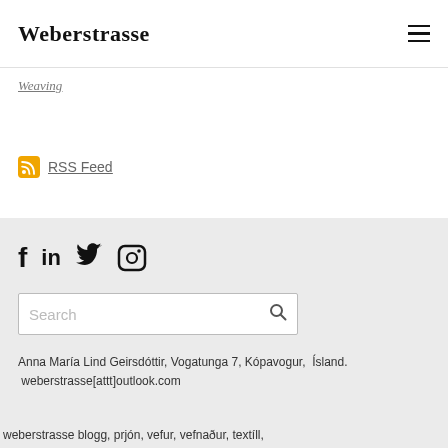Weberstrasse
Weaving
RSS Feed
[Figure (infographic): Social media icons: Facebook (f), LinkedIn (in), Twitter bird, Instagram camera]
[Figure (screenshot): Search input box with placeholder text 'Search' and a magnifying glass icon]
Anna María Lind Geirsdóttir, Vogatunga 7, Kópavogur,  Ísland.  weberstrasse[attt]outlook.com
weberstrasse blogg, prjón, vefur, vefnaður, textíll,